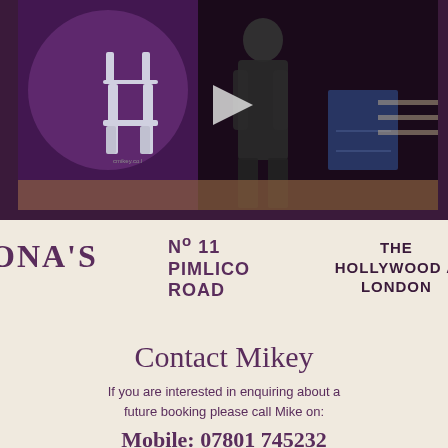[Figure (photo): Video thumbnail showing an event venue with a white chair, purple lighting, and a person standing near a podium. A play button is visible in the center.]
ONA'S
Nº 11 PIMLICO ROAD
THE HOLLYWOOD A LONDON
Contact Mikey
If you are interested in enquiring about a future booking please call Mike on:
Mobile: 07801 745232